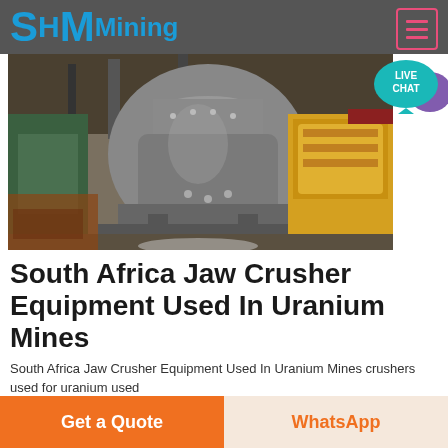SH MMining
[Figure (photo): Industrial jaw crusher and yellow mining equipment inside a factory or mining facility]
South Africa Jaw Crusher Equipment Used In Uranium Mines
South Africa Jaw Crusher Equipment Used In Uranium Mines crushers used for uranium used
Click to chat
Get a Quote   WhatsApp